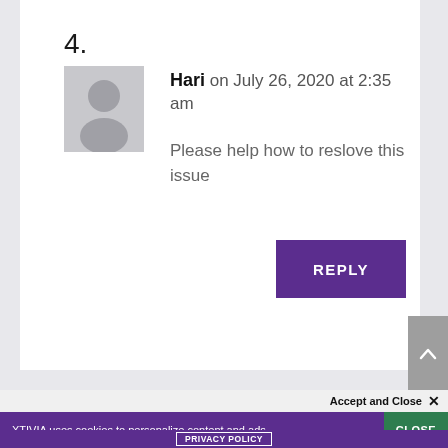4.
[Figure (illustration): Generic user avatar — grey silhouette of a person on a light grey square background]
Hari on July 26, 2020 at 2:35 am
Please help how to reslove this issue
REPLY
Accept and Close ✕
XTIVIA uses cookies to personalize content and ads.
CLOSE
PRIVACY POLICY